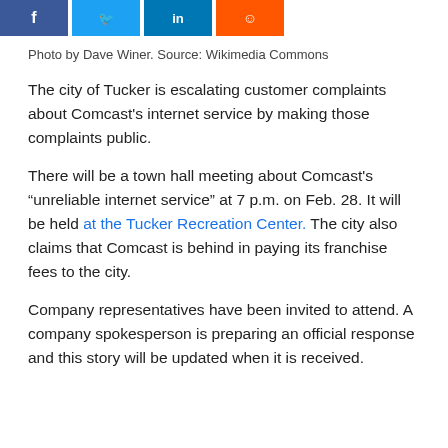[Figure (other): Social media share buttons: Facebook (dark blue), Twitter (light blue), LinkedIn (dark blue), Reddit (orange)]
Photo by Dave Winer. Source: Wikimedia Commons
The city of Tucker is escalating customer complaints about Comcast's internet service by making those complaints public.
There will be a town hall meeting about Comcast's “unreliable internet service” at 7 p.m. on Feb. 28. It will be held at the Tucker Recreation Center. The city also claims that Comcast is behind in paying its franchise fees to the city.
Company representatives have been invited to attend. A company spokesperson is preparing an official response and this story will be updated when it is received.